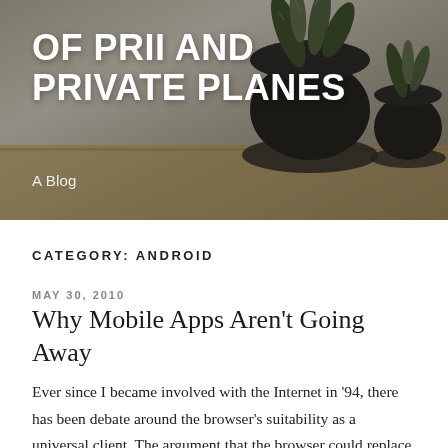[Figure (photo): Blog header image with plants in dark pots on a wooden surface, with a dark overlay]
OF PRII AND PRIVATE PLANES
A Blog
CATEGORY: ANDROID
MAY 30, 2010
Why Mobile Apps Aren't Going Away
Ever since I became involved with the Internet in '94, there has been debate around the browser's suitability as a universal client. The argument that the browser could replace the desktop app ecosystem with a single interface was compelling. From a service provider or developer's perspective, the benefit was obvious: write-once for multiple platforms. Indeed, Oracle even tried to